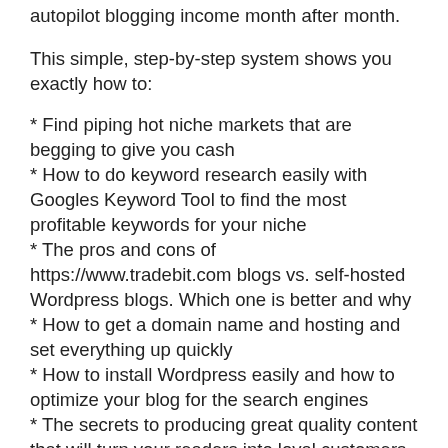autopilot blogging income month after month.
This simple, step-by-step system shows you exactly how to:
* Find piping hot niche markets that are begging to give you cash
* How to do keyword research easily with Googles Keyword Tool to find the most profitable keywords for your niche
* The pros and cons of https://www.tradebit.com blogs vs. self-hosted Wordpress blogs. Which one is better and why
* How to get a domain name and hosting and set everything up quickly
* How to install Wordpress easily and how to optimize your blog for the search engines
* The secrets to producing great quality content that will turn your readers into loyal customers